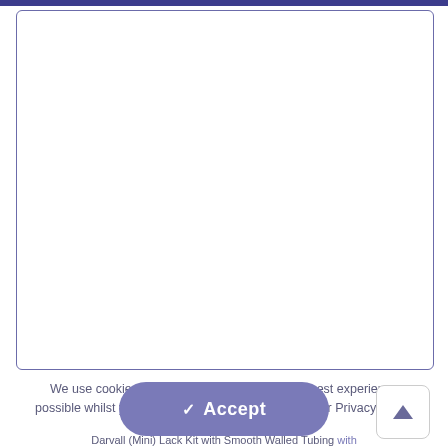[Figure (screenshot): A white rounded card/box area with a dark blue/purple border occupying most of the upper portion of the page, representing a product listing or content area.]
We use cookies to ensure that you receive the best experience possible whilst you use our website. You can read our Privacy Policy here.
✓ Accept
Darvall (Mini) Lack Kit with Smooth Walled Tubing with